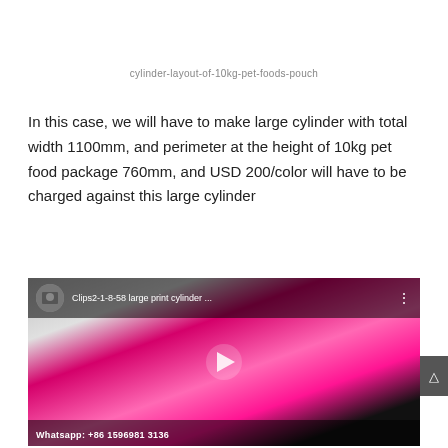cylinder-layout-of-10kg-pet-foods-pouch
In this case, we will have to make large cylinder with total width 1100mm, and perimeter at the height of 10kg pet food package 760mm, and USD 200/color will have to be charged against this large cylinder
[Figure (screenshot): Video thumbnail showing a large pink/magenta printing cylinder with a play button overlay. Video title reads 'Clips2-1-8-58 large print cylinder ...' with a WhatsApp contact number at the bottom: +86 1596981 3136]